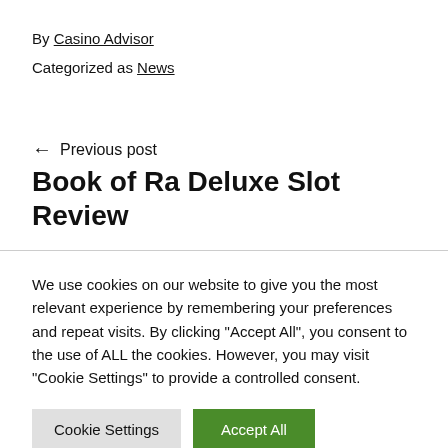By Casino Advisor
Categorized as News
← Previous post
Book of Ra Deluxe Slot Review
We use cookies on our website to give you the most relevant experience by remembering your preferences and repeat visits. By clicking "Accept All", you consent to the use of ALL the cookies. However, you may visit "Cookie Settings" to provide a controlled consent.